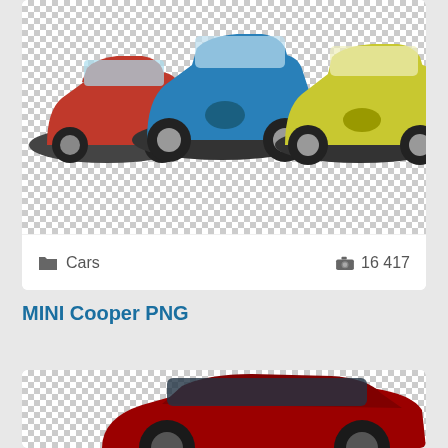[Figure (photo): Three MINI Cooper cars (red, blue, yellow) on a transparent/checkered background inside a white card]
Cars   16417
MINI Cooper PNG
[Figure (photo): A red sports car (Porsche-like) on a transparent/checkered background inside a white card, partially visible]